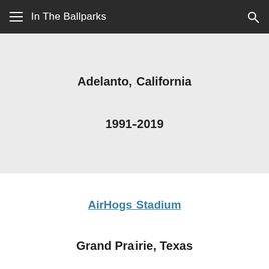In The Ballparks
Adelanto, California
1991-2019
AirHogs Stadium
Grand Prairie, Texas